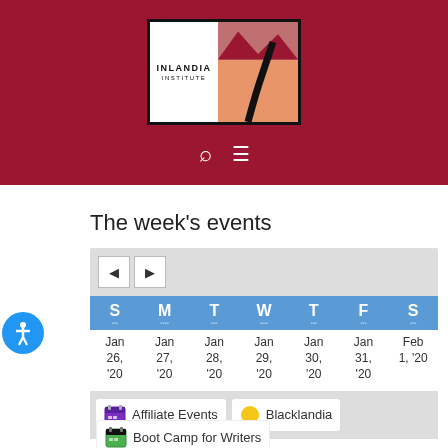[Figure (logo): Inlandia Institute logo with text on left and landscape illustration on right, on dark red background with search and menu icons below]
The week's events
| S | M | T | W | T | F | S |
| --- | --- | --- | --- | --- | --- | --- |
| Jan 26, '20 | Jan 27, '20 | Jan 28, '20 | Jan 29, '20 | Jan 30, '20 | Jan 31, '20 | Feb 1, '20 |
Affiliate Events
Blacklandia
Boot Camp for Writers